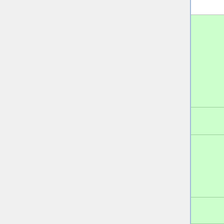|  | +"Status": Fixed. |
|  | + --
[[User:Khaskell|Kate]] 08:06, 27 March 2014 (EDT) |
|  | + |
|  | + ===Image Properties Window does not display fully in Site Information Display=== |
|  | + *"Problem": When editing the Site Information Display (Home>Options), users can not view the entire image properties window. The options "OK" and "Cancel" are hidden. |